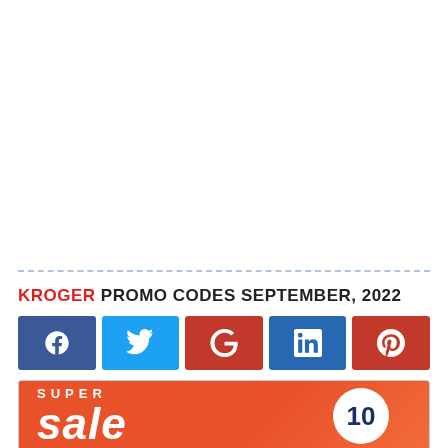KROGER PROMO CODES SEPTEMBER, 2022
[Figure (infographic): Social sharing buttons: Facebook (blue), Twitter (light blue), Google+ (red), LinkedIn (blue), Pinterest (red)]
[Figure (infographic): Super Sale promotional banner with orange background, 'SUPER' text and large 'sale' italic text, with circular badge on right side]